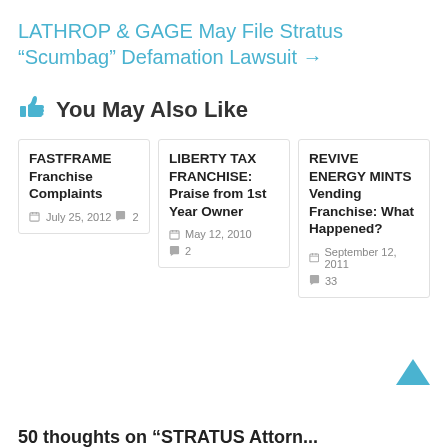LATHROP & GAGE May File Stratus “Scumbag” Defamation Lawsuit →
You May Also Like
FASTFRAME Franchise Complaints — July 25, 2012 — 2 comments
LIBERTY TAX FRANCHISE: Praise from 1st Year Owner — May 12, 2010 — 2 comments
REVIVE ENERGY MINTS Vending Franchise: What Happened? — September 12, 2011 — 33 comments
50 thoughts on “STRATUS Attorn...